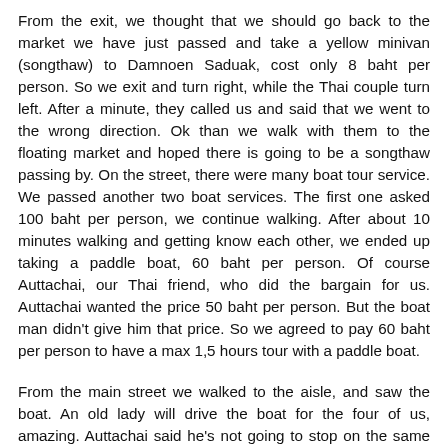From the exit, we thought that we should go back to the market we have just passed and take a yellow minivan (songthaw) to Damnoen Saduak, cost only 8 baht per person. So we exit and turn right, while the Thai couple turn left. After a minute, they called us and said that we went to the wrong direction. Ok than we walk with them to the floating market and hoped there is going to be a songthaw passing by. On the street, there were many boat tour service. We passed another two boat services. The first one asked 100 baht per person, we continue walking. After about 10 minutes walking and getting know each other, we ended up taking a paddle boat, 60 baht per person. Of course Auttachai, our Thai friend, who did the bargain for us. Auttachai wanted the price 50 baht per person. But the boat man didn't give him that price. So we agreed to pay 60 baht per person to have a max 1,5 hours tour with a paddle boat.
From the main street we walked to the aisle, and saw the boat. An old lady will drive the boat for the four of us, amazing. Auttachai said he's not going to stop on the same place where we took the boat, they will get off the market and take songthaw to the bus terminal. We will just follow